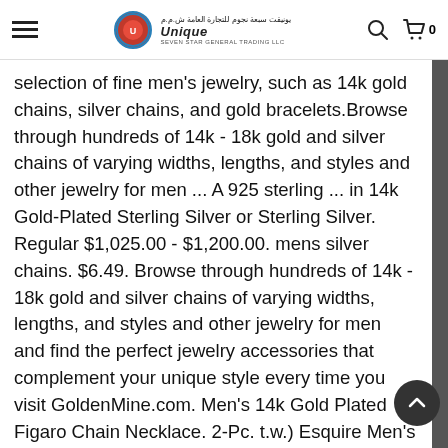Unique Seven Star General Trading LLC
selection of fine men's jewelry, such as 14k gold chains, silver chains, and gold bracelets.Browse through hundreds of 14k - 18k gold and silver chains of varying widths, lengths, and styles and other jewelry for men ... A 925 sterling ... in 14k Gold-Plated Sterling Silver or Sterling Silver. Regular $1,025.00 - $1,200.00. mens silver chains. $6.49. Browse through hundreds of 14k - 18k gold and silver chains of varying widths, lengths, and styles and other jewelry for men and find the perfect jewelry accessories that complement your unique style every time you visit GoldenMine.com. Men's 14k Gold Plated Figaro Chain Necklace. 2-Pc. t.w.) Esquire Men's Jewelry 22" Wheat Chain Link Necklace in 14k Gold-Plated Sterling Silver, ... See, the thing with gold chains is that it's just a turn off mostly because it's associated with hip hop. Men's Cuban Link 22" Chain Necklace in 18k Gold-Plated Sterling Silver $1,200.00 $34.99 Diamond Bonus $34.99 Diamond Bonus Buy Discover the latest in men's chains